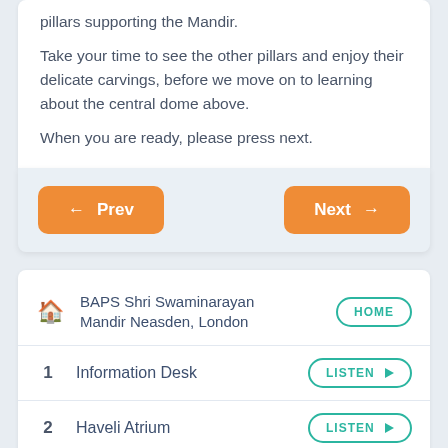pillars supporting the Mandir.
Take your time to see the other pillars and enjoy their delicate carvings, before we move on to learning about the central dome above.
When you are ready, please press next.
← Prev
Next →
BAPS Shri Swaminarayan Mandir Neasden, London
HOME
1  Information Desk
LISTEN ►
2  Haveli Atrium
LISTEN ►